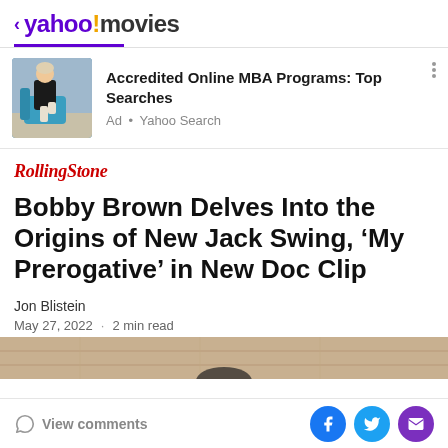< yahoo! movies
[Figure (screenshot): Advertisement banner with photo of woman sitting on blue chair. Ad text: 'Accredited Online MBA Programs: Top Searches' with 'Ad • Yahoo Search' below.]
RollingStone
Bobby Brown Delves Into the Origins of New Jack Swing, 'My Prerogative' in New Doc Clip
Jon Blistein
May 27, 2022  ·  2 min read
[Figure (photo): Partial image of article photo showing wooden surface background]
View comments